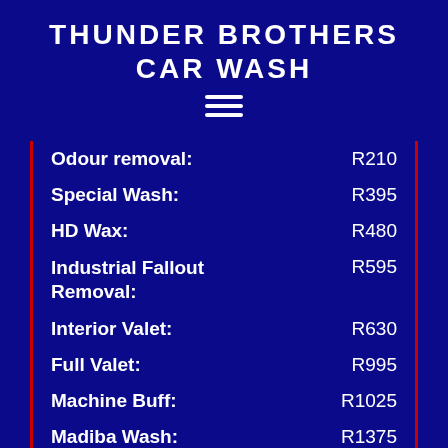THUNDER BROTHERS CAR WASH
| Service | Price |
| --- | --- |
| Odour removal: | R210 |
| Special Wash: | R395 |
| HD Wax: | R480 |
| Industrial Fallout Removal: | R595 |
| Interior Valet: | R630 |
| Full Valet: | R995 |
| Machine Buff: | R1025 |
| Madiba Wash: | R1375 |